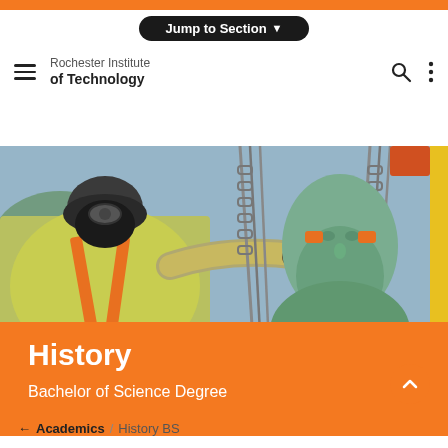Jump to Section ▼
Rochester Institute of Technology
[Figure (photo): A worker in a yellow high-visibility shirt and black helmet/mask, reaching toward lifting chains attached to a large bronze statue of a bearded man being removed by crane.]
History
Bachelor of Science Degree
← Academics / History BS